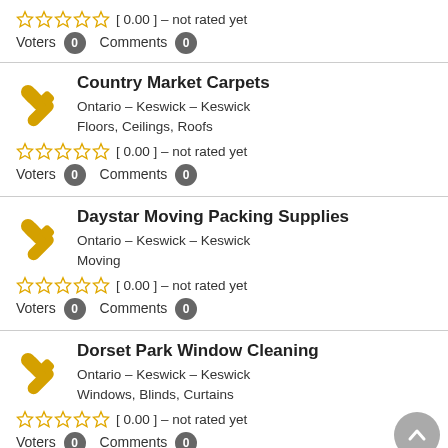[ 0.00 ] – not rated yet
Voters 0   Comments 0
Country Market Carpets
Ontario – Keswick – Keswick
Floors, Ceilings, Roofs
[ 0.00 ] – not rated yet
Voters 0   Comments 0
Daystar Moving Packing Supplies
Ontario – Keswick – Keswick
Moving
[ 0.00 ] – not rated yet
Voters 0   Comments 0
Dorset Park Window Cleaning
Ontario – Keswick – Keswick
Windows, Blinds, Curtains
[ 0.00 ] – not rated yet
Voters 0   Comments 0